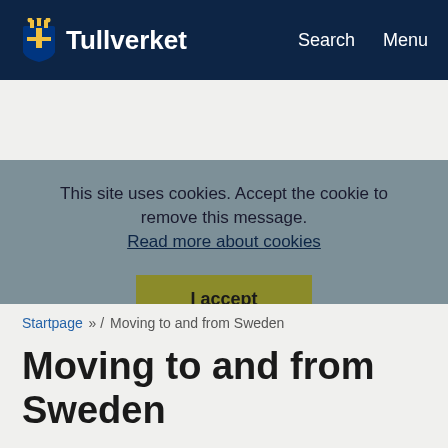Tullverket | Search | Menu
This site uses cookies. Accept the cookie to remove this message. Read more about cookies
I accept
Startpage » / Moving to and from Sweden
Moving to and from Sweden
When you are moving to Sweden